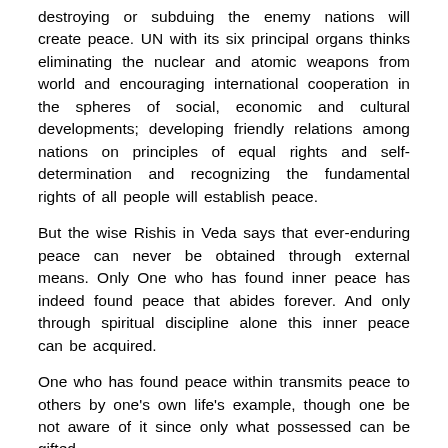destroying or subduing the enemy nations will create peace. UN with its six principal organs thinks eliminating the nuclear and atomic weapons from world and encouraging international cooperation in the spheres of social, economic and cultural developments; developing friendly relations among nations on principles of equal rights and self-determination and recognizing the fundamental rights of all people will establish peace.
But the wise Rishis in Veda says that ever-enduring peace can never be obtained through external means. Only One who has found inner peace has indeed found peace that abides forever. And only through spiritual discipline alone this inner peace can be acquired.
One who has found peace within transmits peace to others by one's own life's example, though one be not aware of it since only what possessed can be gifted.
Concept of peace in Vedic scriptures not only refers to non-violence and welfare of the entire humanity. but instead this famous Shanti-Mantra of Yajurveda (36.17) clearly explains the peace and harmony of mind, body and soul of all existing…